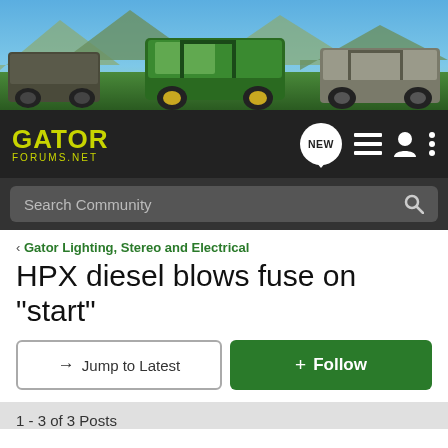[Figure (photo): Banner image showing multiple John Deere Gator UTVs parked in a mountain/outdoor landscape with green grass, blue sky and mountains in background.]
GATOR FORUMS.NET — navigation bar with logo, NEW posts icon, list icon, user icon, menu icon, and search bar reading 'Search Community'
< Gator Lighting, Stereo and Electrical
HPX diesel blows fuse on "start"
→ Jump to Latest   ⊕ Follow
1 - 3 of 3 Posts
Ralph · Registered 🇺🇸
Joined Jan 18, 2014 · 2 Posts